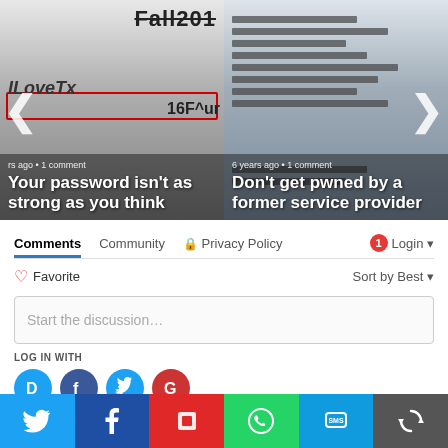[Figure (screenshot): Two article thumbnail cards in a carousel. Left card: strikethrough text 'Fall201', italic bold 'ILoveT>' partially visible, red underline box with '16F^ur', overlay text bottom shows timestamp and headline 'Your password isn't as strong as you think'. Right card: blurred credential list image with overlay headline 'Don't get pwned by a former service provider', timestamp '6 years ago • 1 comment'. Navigation arrows on left and right sides.]
Comments   Community   🔒 Privacy Policy   1   Login ▾
♡ Favorite
Sort by Best ▾
Start the discussion…
LOG IN WITH
[Figure (screenshot): Four circular social login buttons: Disqus (blue D), Facebook (dark blue f), Twitter (light blue bird), Google (red G)]
[Figure (screenshot): Bottom share bar with six colored buttons: Twitter (blue, bird icon), Facebook (dark blue, f icon), Flipboard (red, square icon), WhatsApp (green, phone icon), SMS (light blue, SMS icon), More (gray, circular arrows icon)]